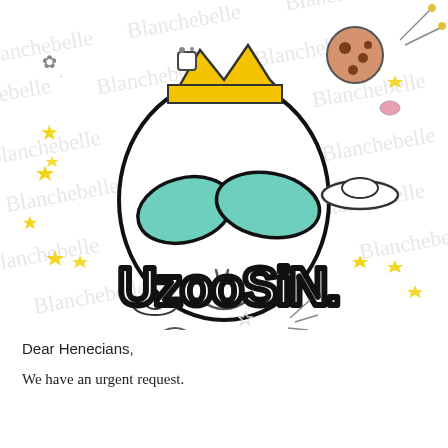[Figure (illustration): Cartoon alien character with large green oval eyes, wearing a golden crown, smiling. Below the alien face is graffiti-style text reading 'UzooSiN.' Surrounding the character are doodles of stars, UFOs, planets, cookies/mushrooms, and other space-themed elements. A watermark repeating 'Blanchebelle' is visible in the background. At the bottom right of the illustration: 'by Blanchebelle | 2015.08.02']
Dear Henecians,
We have an urgent request.